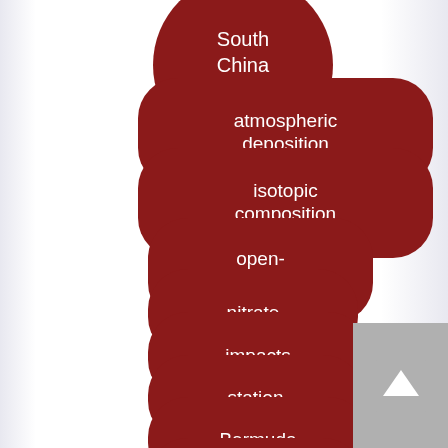South China Sea
atmospheric deposition
isotopic composition
open-ocean
nitrate
impacts
station
Bermuda
nitrite